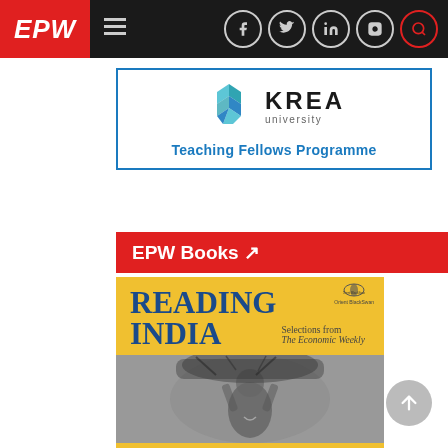EPW
[Figure (logo): KREA University logo with teal geometric pattern and text 'KREA university']
Teaching Fellows Programme
EPW Books ↗
[Figure (photo): Book cover: 'READING INDIA – Selections from The Economic Weekly' published by Orient BlackSwan, with a black-and-white photo of a woman carrying a large bundle of brushwood on her head, smiling at the camera. Yellow background on upper portion.]